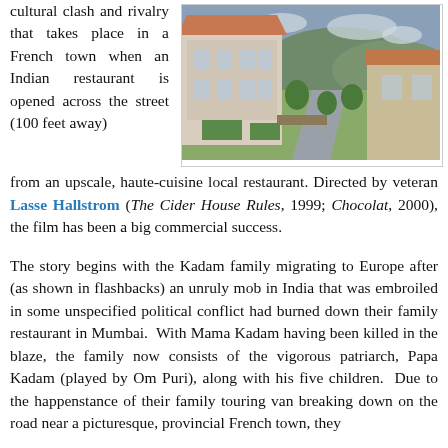cultural clash and rivalry that takes place in a French town when an Indian restaurant is opened across the street (100 feet away) from an upscale, haute-cuisine local restaurant. Directed by veteran Lasse Hallstrom (The Cider House Rules, 1999; Chocolat, 2000), the film has been a big commercial success.
[Figure (photo): Aerial or elevated view of a French provincial town with a road leading between stone buildings, greenery and hills in the background under a cloudy sky.]
The story begins with the Kadam family migrating to Europe after (as shown in flashbacks) an unruly mob in India that was embroiled in some unspecified political conflict had burned down their family restaurant in Mumbai. With Mama Kadam having been killed in the blaze, the family now consists of the vigorous patriarch, Papa Kadam (played by Om Puri), along with his five children. Due to the happenstance of their family touring van breaking down on the road near a picturesque, provincial French town, they